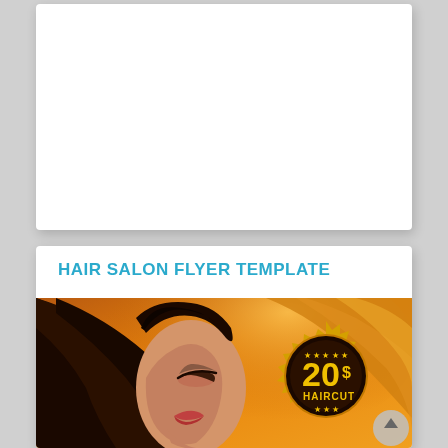[Figure (illustration): Top white card area - blank/white content area of a document page]
HAIR SALON FLYER TEMPLATE
[Figure (photo): Hair salon flyer image showing a woman with dark glossy hair against an orange/golden background, with a dark circular badge showing '20$ HAIRCUT' in gold text with stars]